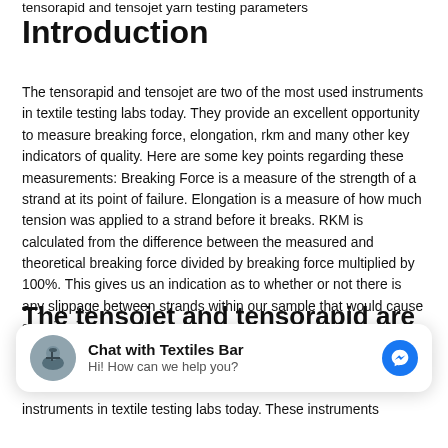tensorapid and tensojet yarn testing parameters
Introduction
The tensorapid and tensojet are two of the most used instruments in textile testing labs today. They provide an excellent opportunity to measure breaking force, elongation, rkm and many other key indicators of quality. Here are some key points regarding these measurements: Breaking Force is a measure of the strength of a strand at its point of failure. Elongation is a measure of how much tension was applied to a strand before it breaks. RKM is calculated from the difference between the measured and theoretical breaking force divided by breaking force multiplied by 100%. This gives us an indication as to whether or not there is any slippage between strands within our sample that would cause skewing in our results
The tensojet and tensorapid are two of the most used instruments in
[Figure (other): Chat widget overlay: avatar image of textile equipment, 'Chat with Textiles Bar' bold title, 'Hi! How can we help you?' subtitle, Facebook Messenger icon button on right]
instruments in textile testing labs today. These instruments